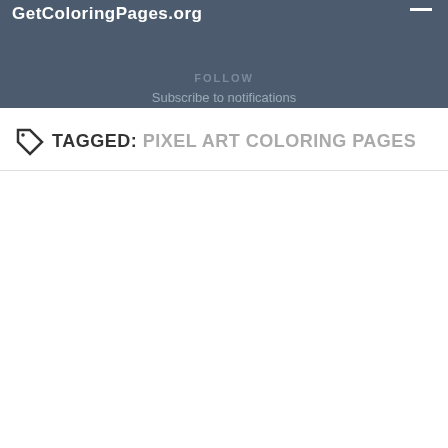GetColoringPages.org
FOLLOW
Subscribe to notifications
TAGGED: PIXEL ART COLORING PAGES